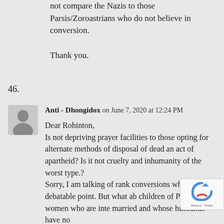not compare the Nazis to those Parsis/Zoroastrians who do not believe in conversion.

Thank you.
46.
Anti - Dhongidox on June 7, 2020 at 12:24 PM

Dear Rohinton,
Is not depriving prayer facilities to those opting for alternate methods of disposal of dead an act of apartheid? Is it not cruelty and inhumanity of the worst type.?
Sorry, I am talking of rank conversions which is a debatable point. But what ab children of Parsee women who are inte married and whose husbands have no